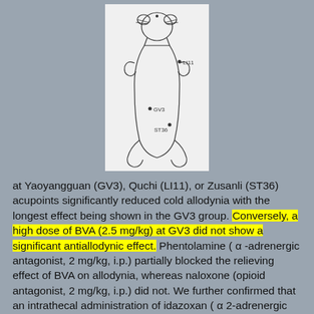[Figure (illustration): Line drawing of a rat (ventral view) with acupuncture points labeled: LI11 (near shoulder), GV3 (lower back), ST36 (hind leg area).]
at Yaoyangguan (GV3), Quchi (LI11), or Zusanli (ST36) acupoints significantly reduced cold allodynia with the longest effect being shown in the GV3 group. Conversely, a high dose of BVA (2.5 mg/kg) at GV3 did not show a significant antiallodynic effect. Phentolamine ( α -adrenergic antagonist, 2 mg/kg, i.p.) partially blocked the relieving effect of BVA on allodynia, whereas naloxone (opioid antagonist, 2 mg/kg, i.p.) did not. We further confirmed that an intrathecal administration of idazoxan ( α 2-adrenergic antagonist, 50 μg) blocked the BVA-induced anti-allodynic effect.